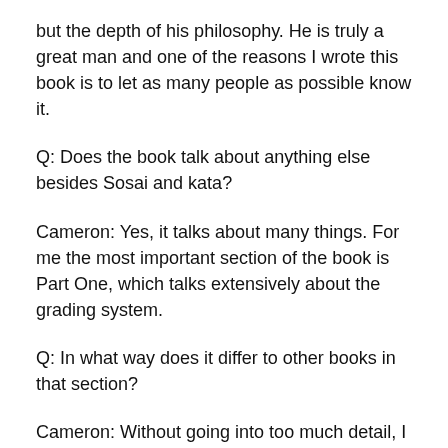but the depth of his philosophy. He is truly a great man and one of the reasons I wrote this book is to let as many people as possible know it.
Q: Does the book talk about anything else besides Sosai and kata?
Cameron: Yes, it talks about many things. For me the most important section of the book is Part One, which talks extensively about the grading system.
Q: In what way does it differ to other books in that section?
Cameron: Without going into too much detail, I have made a comparison between the philosophical foundations of the grading system and certain facets of Indian Yoga. Essentially, the whole grading system is based on the